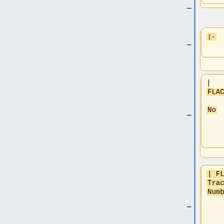[Figure (flowchart): Flowchart/wiki-table syntax diagram showing nodes: Genre, |- (separator), | FLAC_Track No, | FLAC Track Number, |- (separator), | Audio_Duration, | Duration of an Audio file, |- (separator). Each node is a rounded box with a horizontal connector line to a vertical blue line on the left.]